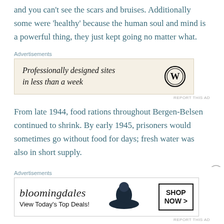and you can't see the scars and bruises. Additionally some were 'healthy' because the human soul and mind is a powerful thing, they just kept going no matter what.
[Figure (screenshot): WordPress advertisement: 'Professionally designed sites in less than a week' with WordPress logo]
From late 1944, food rations throughout Bergen-Belsen continued to shrink. By early 1945, prisoners would sometimes go without food for days; fresh water was also in short supply.
Sanitation was totally inadequate, with few toilets and water outlets for the tens of thousands of prisoners
[Figure (screenshot): Bloomingdale's advertisement: 'View Today's Top Deals!' with SHOP NOW > button]